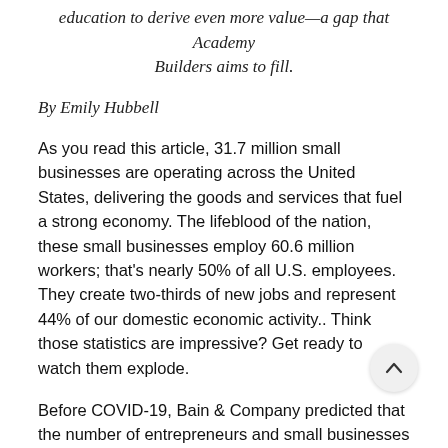education to derive even more value—a gap that Academy Builders aims to fill.
By Emily Hubbell
As you read this article, 31.7 million small businesses are operating across the United States, delivering the goods and services that fuel a strong economy. The lifeblood of the nation, these small businesses employ 60.6 million workers; that's nearly 50% of all U.S. employees. They create two-thirds of new jobs and represent 44% of our domestic economic activity.. Think those statistics are impressive? Get ready to watch them explode.
Before COVID-19, Bain & Company predicted that the number of entrepreneurs and small businesses in the U.S. would skyrocket to 70 million by 2030. Now, the number of Americans who are entrepreneurs has also